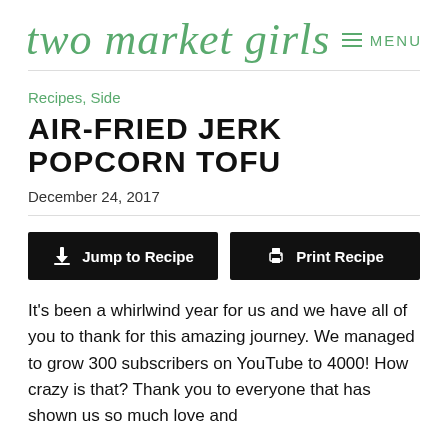two market girls  MENU
Recipes, Side
AIR-FRIED JERK POPCORN TOFU
December 24, 2017
Jump to Recipe  Print Recipe
It's been a whirlwind year for us and we have all of you to thank for this amazing journey. We managed to grow 300 subscribers on YouTube to 4000! How crazy is that? Thank you to everyone that has shown us so much love and